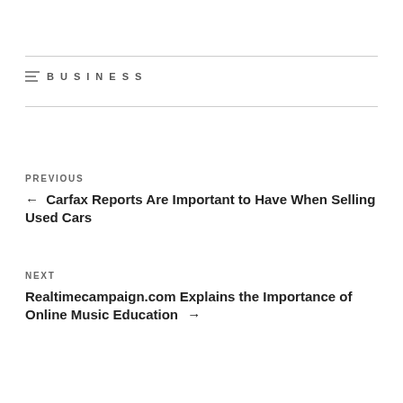BUSINESS
PREVIOUS
← Carfax Reports Are Important to Have When Selling Used Cars
NEXT
Realtimecampaign.com Explains the Importance of Online Music Education →